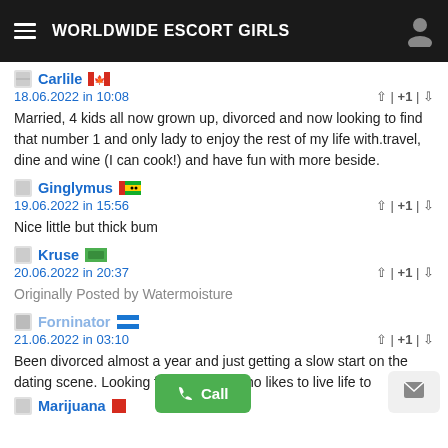WORLDWIDE ESCORT GIRLS
Carlile
18.06.2022 in 10:08
Married, 4 kids all now grown up, divorced and now looking to find that number 1 and only lady to enjoy the rest of my life with.travel, dine and wine (I can cook!) and have fun with more beside.
Ginglymus
19.06.2022 in 15:56
Nice little but thick bum
Kruse
20.06.2022 in 20:37
Originally Posted by Watermoisture
Forninator
21.06.2022 in 03:10
Been divorced almost a year and just getting a slow start on the dating scene. Looking for someone who likes to live life to
Marijuana